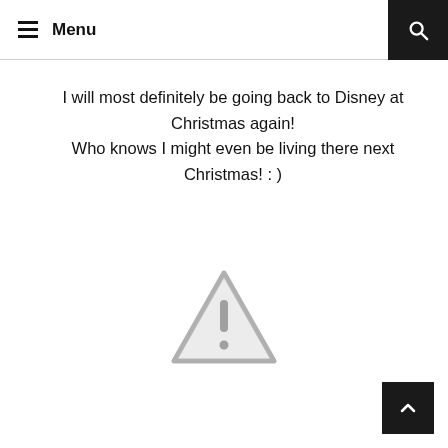≡ Menu
I will most definitely be going back to Disney at Christmas again!
Who knows I might even be living there next Christmas! : )
[Figure (illustration): Gray warning triangle icon with exclamation mark]